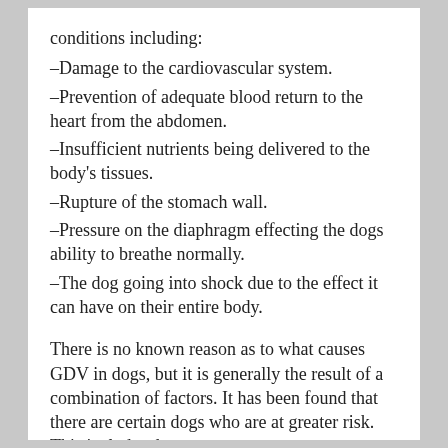conditions including:
–Damage to the cardiovascular system.
–Prevention of adequate blood return to the heart from the abdomen.
–Insufficient nutrients being delivered to the body's tissues.
–Rupture of the stomach wall.
–Pressure on the diaphragm effecting the dogs ability to breathe normally.
–The dog going into shock due to the effect it can have on their entire body.
There is no known reason as to what causes GDV in dogs, but it is generally the result of a combination of factors. It has been found that there are certain dogs who are at greater risk. This includes dogs